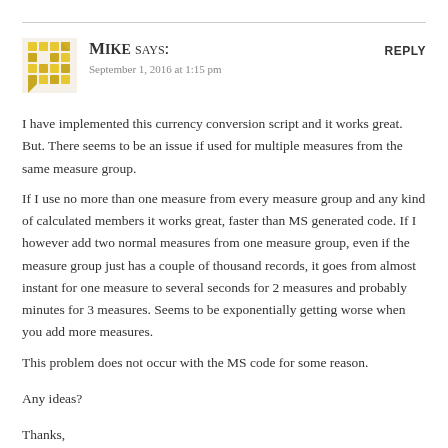Mike says:
September 1, 2016 at 1:15 pm
REPLY
I have implemented this currency conversion script and it works great. But. There seems to be an issue if used for multiple measures from the same measure group.
If I use no more than one measure from every measure group and any kind of calculated members it works great, faster than MS generated code. If I however add two normal measures from one measure group, even if the measure group just has a couple of thousand records, it goes from almost instant for one measure to several seconds for 2 measures and probably minutes for 3 measures. Seems to be exponentially getting worse when you add more measures.
This problem does not occur with the MS code for some reason.

Any ideas?

Thanks,
Mike